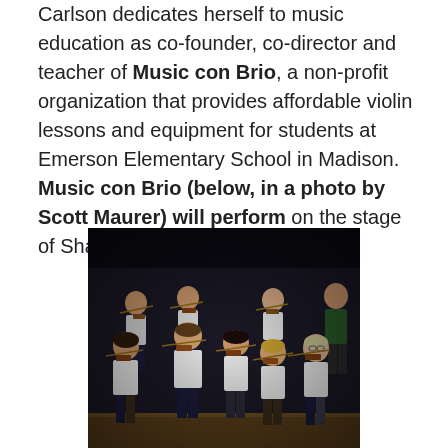Carlson dedicates herself to music education as co-founder, co-director and teacher of Music con Brio, a non-profit organization that provides affordable violin lessons and equipment for students at Emerson Elementary School in Madison. Music con Brio (below, in a photo by Scott Maurer) will perform on the stage of Shannon Hall from 7 to 7:20 p.m.
[Figure (photo): Children in white Music con Brio t-shirts playing violins on a dark stage]